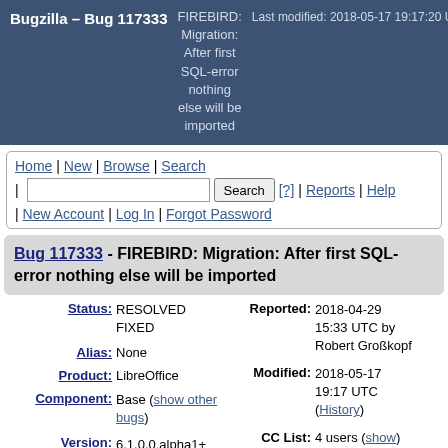Bugzilla – Bug 117333  FIREBIRD: Migration: After first SQL-error nothing else will be imported  Last modified: 2018-05-17 19:17:20 UTC
Home | New | Browse | Search | [Search box] Search [?] | Reports | Help | New Account | Log In | Forgot Password
Bug 117333 - FIREBIRD: Migration: After first SQL-error nothing else will be imported
| Field | Value |
| --- | --- |
| Status: | RESOLVED FIXED |
| Alias: | None |
| Product: | LibreOffice |
| Component: | Base (show other bugs) |
| Version: (earliest affected) | 6.1.0.0.alpha1+ |
| Hardware: | x86-64 (AMD64) |
| Reported: | 2018-04-29 15:33 UTC by Robert Großkopf |
| Modified: | 2018-05-17 19:17 UTC (History) |
| CC List: | 4 users (show) |
| See Also: |  |
| Crash report or crash signature: |  |